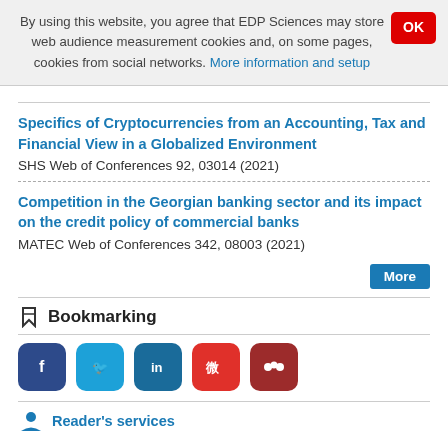By using this website, you agree that EDP Sciences may store web audience measurement cookies and, on some pages, cookies from social networks. More information and setup
Specifics of Cryptocurrencies from an Accounting, Tax and Financial View in a Globalized Environment
SHS Web of Conferences 92, 03014 (2021)
Competition in the Georgian banking sector and its impact on the credit policy of commercial banks
MATEC Web of Conferences 342, 08003 (2021)
Bookmarking
[Figure (other): Social media sharing buttons: Facebook, Twitter, LinkedIn, Weibo, Mendeley]
Reader's services